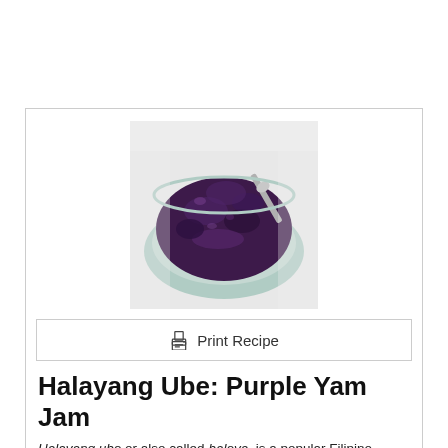[Figure (photo): A bowl containing dark purple halayang ube (purple yam jam) with a spoon visible, photographed from above on a light background.]
Print Recipe
Halayang Ube: Purple Yam Jam
Halayang ube or also called haleya, is a popular Filipino dessert made from boiled purple yams. If you finish the jar all by yourself, try not to feel guilty. We all have done